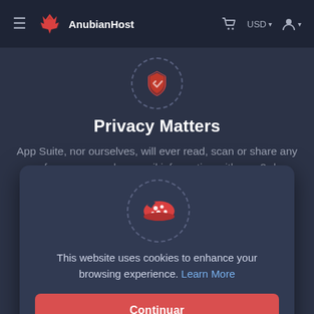AnubianHost — USD navigation bar
[Figure (screenshot): AnubianHost website header with hamburger menu, logo (Anubis wolf head in red), shopping cart icon, USD currency selector, and user account icon]
Privacy Matters
App Suite, nor ourselves, will ever read, scan or share any of your personal or email information with any 3rd
[Figure (illustration): Cookie consent modal dialog with a red cookie icon (chocolate chip cookie illustration), cookie notice text, Learn More link, and Continuar (Continue) button]
This website uses cookies to enhance your browsing experience. Learn More
Questions